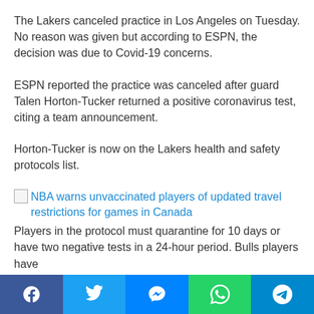The Lakers canceled practice in Los Angeles on Tuesday. No reason was given but according to ESPN, the decision was due to Covid-19 concerns.
ESPN reported the practice was canceled after guard Talen Horton-Tucker returned a positive coronavirus test, citing a team announcement.
Horton-Tucker is now on the Lakers health and safety protocols list.
NBA warns unvaccinated players of updated travel restrictions for games in Canada
Players in the protocol must quarantine for 10 days or have two negative tests in a 24-hour period. Bulls players have
Facebook | Twitter | Messenger | WhatsApp | Telegram